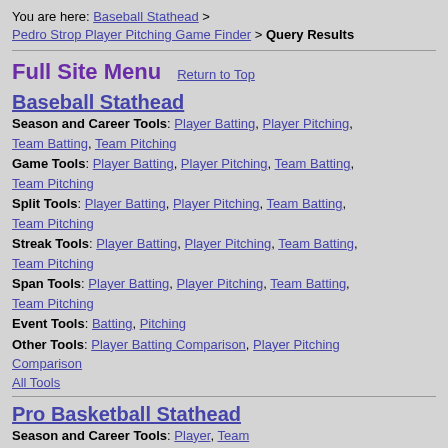You are here: Baseball Stathead > Pedro Strop Player Pitching Game Finder > Query Results
Full Site Menu   Return to Top
Baseball Stathead
Season and Career Tools: Player Batting, Player Pitching, Team Batting, Team Pitching
Game Tools: Player Batting, Player Pitching, Team Batting, Team Pitching
Split Tools: Player Batting, Player Pitching, Team Batting, Team Pitching
Streak Tools: Player Batting, Player Pitching, Team Batting, Team Pitching
Span Tools: Player Batting, Player Pitching, Team Batting, Team Pitching
Event Tools: Batting, Pitching
Other Tools: Player Batting Comparison, Player Pitching Comparison
All Tools
Pro Basketball Stathead
Season and Career Tools: Player, Team